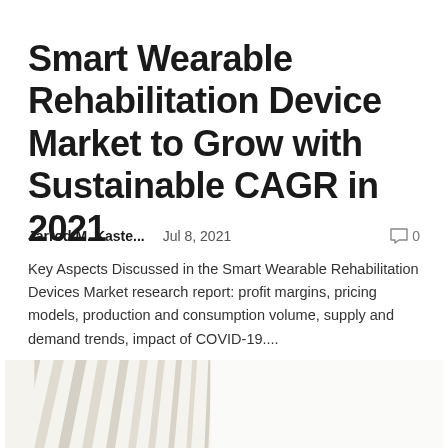Smart Wearable Rehabilitation Device Market to Grow with Sustainable CAGR in 2021
Jarrod M. Kaste...   Jul 8, 2021   0
Key Aspects Discussed in the Smart Wearable Rehabilitation Devices Market research report: profit margins, pricing models, production and consumption volume, supply and demand trends, impact of COVID-19....
[Figure (photo): Partial view of an architectural structure with vertical slats or fins, rendered in light beige/cream tones, partially cropped at the bottom of the page.]